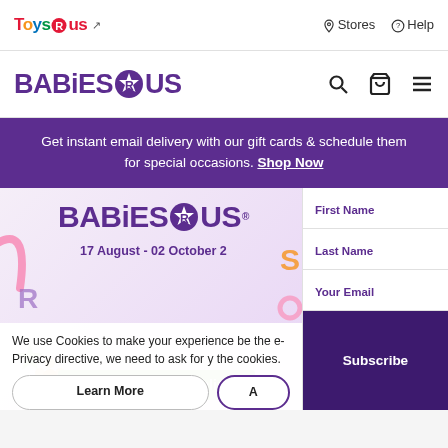[Figure (screenshot): Toys R Us logo in colorful letters with external link icon]
Stores   Help
[Figure (logo): Babies R Us logo in purple with star-R icon, search, cart, and hamburger menu icons]
Get instant email delivery with our gift cards & schedule them for special occasions. Shop Now
[Figure (infographic): Babies R Us promotional banner with date 17 August - 02 October 2 and Shop in-store or online text on green background, with decorative colorful shapes]
We use Cookies to make your experience be the e-Privacy directive, we need to ask for y the cookies.
Learn More
A
First Name
Last Name
Your Email
Subscribe